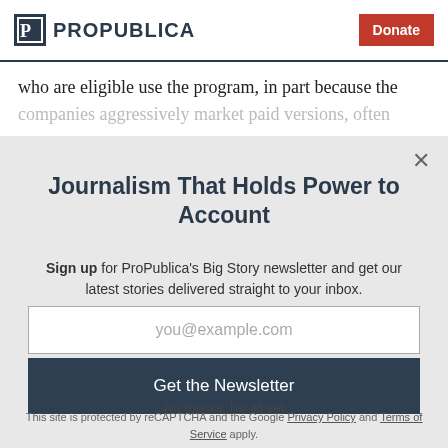ProPublica — Donate
who are eligible use the program, in part because the companies aggressively market paid versions, often
Journalism That Holds Power to Account
Sign up for ProPublica's Big Story newsletter and get our latest stories delivered straight to your inbox.
you@example.com
Get the Newsletter
No thanks, I'm all set
This site is protected by reCAPTCHA and the Google Privacy Policy and Terms of Service apply.